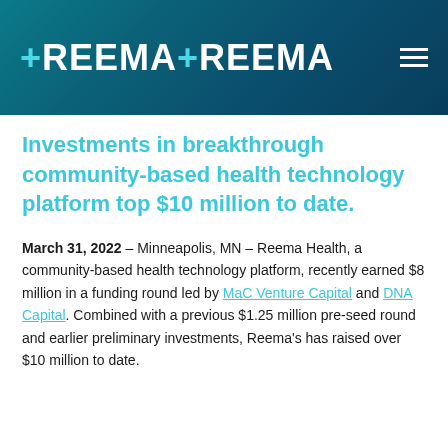[Figure (logo): ReemaReema logo with plus signs on teal/dark blue gradient banner header, with hamburger menu icon top right]
Investments in breakthrough community-based health technology platform top $10 million to date.
March 31, 2022 – Minneapolis, MN – Reema Health, a community-based health technology platform, recently earned $8 million in a funding round led by MaC Venture Capital and DNA Capital. Combined with a previous $1.25 million pre-seed round and earlier preliminary investments, Reema's has raised over $10 million to date.